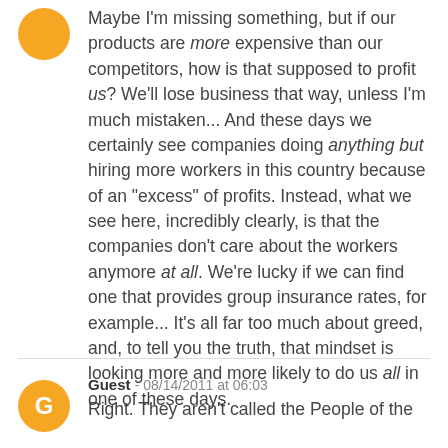Maybe I'm missing something, but if our products are more expensive than our competitors, how is that supposed to profit us? We'll lose business that way, unless I'm much mistaken... And these days we certainly see companies doing anything but hiring more workers in this country because of an "excess" of profits. Instead, what we see here, incredibly clearly, is that the companies don't care about the workers anymore at all. We're lucky if we can find one that provides group insurance rates, for example... It's all far too much about greed, and, to tell you the truth, that mindset is looking more and more likely to do us all in one of these days.
Guest - 08/14/2011 at 06:03
Right. They aren't called the People of the